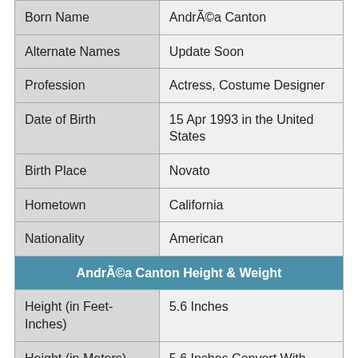| Field | Value |
| --- | --- |
| Born Name | André Canton |
| Alternate Names | Update Soon |
| Profession | Actress, Costume Designer |
| Date of Birth | 15 Apr 1993 in the United States |
| Birth Place | Novato |
| Hometown | California |
| Nationality | American |
| André Canton Height & Weight |  |
| Height (in Feet-Inches) | 5.6 Inches |
| Height (in Meters) | 5.6 Inches Convert With Miter |
| Height (in Centimeters) | 5.6 Inches Convert With Centimeters |